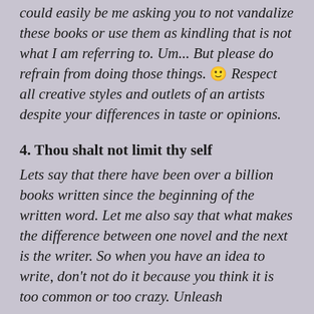could easily be me asking you to not vandalize these books or use them as kindling that is not what I am referring to. Um... But please do refrain from doing those things. 🙂 Respect all creative styles and outlets of an artists despite your differences in taste or opinions.
4. Thou shalt not limit thy self
Lets say that there have been over a billion books written since the beginning of the written word. Let me also say that what makes the difference between one novel and the next is the writer. So when you have an idea to write, don't not do it because you think it is too common or too crazy. Unleash